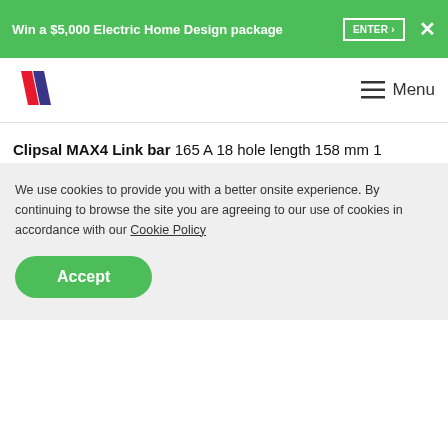Win a $5,000 Electric Home Design package  ENTER ›  ✕
[Figure (logo): HuffPost logo — two parallel diagonal stripes in red and dark purple/blue]
☰  Menu
Clipsal MAX4 Link bar 165 A 18 hole length 158 mm 1 hexagon head
▼ Jump to...
We use cookies to provide you with a better onsite experience. By continuing to browse the site you are agreeing to our use of cookies in accordance with our Cookie Policy
Accept